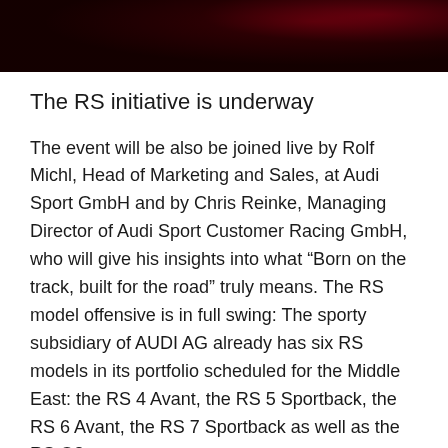[Figure (photo): Dark red/black dramatic background image header]
The RS initiative is underway
The event will be also be joined live by Rolf Michl, Head of Marketing and Sales, at Audi Sport GmbH and by Chris Reinke, Managing Director of Audi Sport Customer Racing GmbH, who will give his insights into what “Born on the track, built for the road” truly means. The RS model offensive is in full swing: The sporty subsidiary of AUDI AG already has six RS models in its portfolio scheduled for the Middle East: the RS 4 Avant, the RS 5 Sportback, the RS 6 Avant, the RS 7 Sportback as well as the RS Q8.